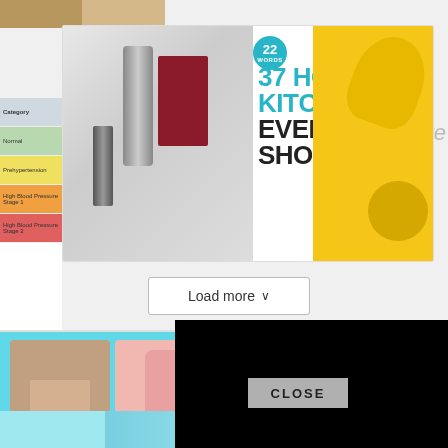[Figure (screenshot): Partial view of two food/drink images at the top left]
[Figure (screenshot): Advertisement banner: '37 HOME AND KITCHEN ITEMS EVERYONE SHOULD OWN' with wine opener product and kitchen tools on yellow background. 22Words branding badge.]
ssure
[Figure (screenshot): Partially visible colored chart/infographic with category rows in green, yellow, orange, red]
Load more ∨
[Figure (screenshot): Close button circle (X) for dismissing popup]
[Figure (screenshot): Gray content area background section]
[Figure (screenshot): Black video player overlay covering part of the page]
CLOSE
[Figure (screenshot): Teal/cyan beauty advertisement strip showing '37 BEAUTY' text with lifestyle images]
[Figure (screenshot): Second advertisement: '37 ITEMS PEOPLE LOVE TO PURCHASE ON AMAZON' with jewelry and pink dispenser images, 22Words badge]